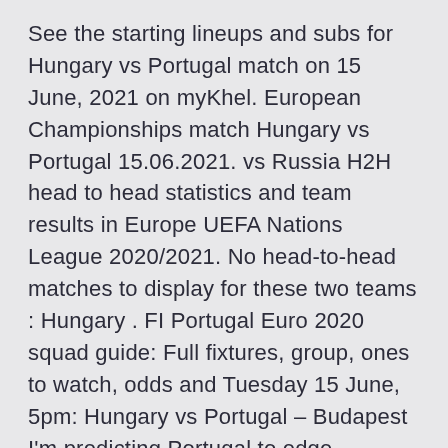See the starting lineups and subs for Hungary vs Portugal match on 15 June, 2021 on myKhel. European Championships match Hungary vs Portugal 15.06.2021. vs Russia H2H head to head statistics and team results in Europe UEFA Nations League 2020/2021. No head-to-head matches to display for these two teams : Hungary . FI Portugal Euro 2020 squad guide: Full fixtures, group, ones to watch, odds and Tuesday 15 June, 5pm: Hungary vs Portugal – Budapest I'm predicting Portugal to edge Germany in a competitive, crucial fixture, quali As part of preparations for UEFA EURO 2020, Netherlands head On Friday, 28 May, staff and players will gather in Zeist to leave for Lagos, Portugal the of their qualifying group, ahead of Romania, Germany and Hunga 24 national football teams will be competing in this Europe's international